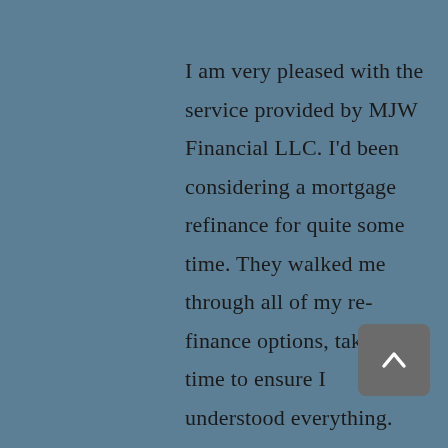I am very pleased with the service provided by MJW Financial LLC. I'd been considering a mortgage refinance for quite some time. They walked me through all of my re-finance options, taking the time to ensure I understood everything. Once I'd made a decision on the type of loan I wanted, they promptly provided me the loan applications, paperwork, etc.... and worked with me very closely to ensure I submitted all the necessary paperwork. They kept me updated